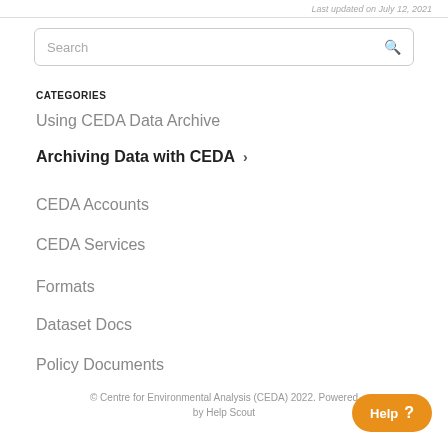Last updated on July 12, 2021
Search
CATEGORIES
Using CEDA Data Archive
Archiving Data with CEDA >
CEDA Accounts
CEDA Services
Formats
Dataset Docs
Policy Documents
© Centre for Environmental Analysis (CEDA) 2022. Powered by Help Scout